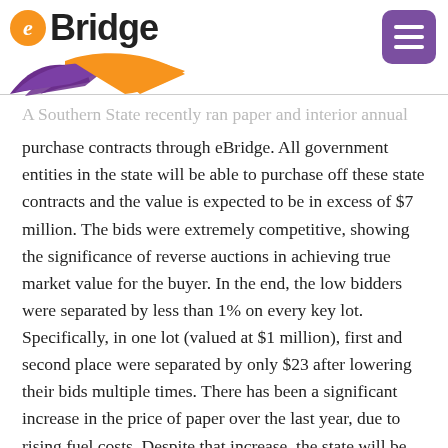[Figure (logo): eBridge logo with orange 'e' circle, bold 'Bridge' text, and purple/orange swoosh graphic below]
A Southern State recently ran paper and interior annual purchase contracts through eBridge. All government entities in the state will be able to purchase off these state contracts and the value is expected to be in excess of $7 million. The bids were extremely competitive, showing the significance of reverse auctions in achieving true market value for the buyer. In the end, the low bidders were separated by less than 1% on every key lot. Specifically, in one lot (valued at $1 million), first and second place were separated by only $23 after lowering their bids multiple times. There has been a significant increase in the price of paper over the last year, due to rising fuel costs. Despite that increase, the state will be paying less for 8 ½ x 11 copy paper under the new contract than it did under the old contract, which was